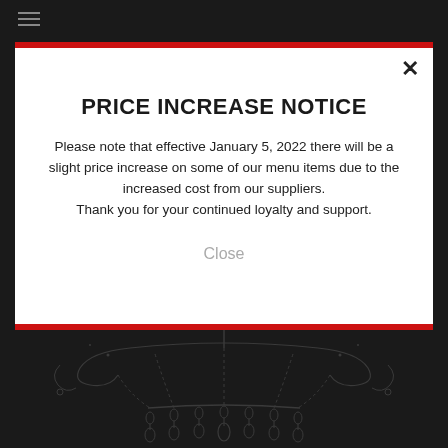[Figure (screenshot): Dark background with hamburger menu icon at top left, decorative chandelier illustration at bottom]
PRICE INCREASE NOTICE
Please note that effective January 5, 2022 there will be a slight price increase on some of our menu items due to the increased cost from our suppliers.
Thank you for your continued loyalty and support.
Close